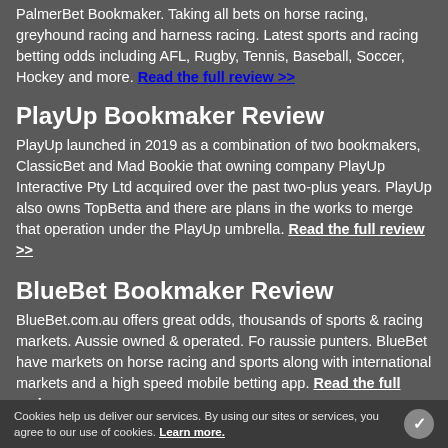PalmerBet Bookmaker. Taking all bets on horse racing, greyhound racing and harness racing. Latest sports and racing betting odds including AFL, Rugby, Tennis, Baseball, Soccer, Hockey and more. Read the full review >>
PlayUp Bookmaker Review
PlayUp launched in 2019 as a combination of two bookmakers, ClassicBet and Mad Bookie that owning company PlayUp Interactive Pty Ltd acquired over the past two-plus years. PlayUp also owns TopBetta and there are plans in the works to merge that operation under the PlayUp umbrella. Read the full review >>
BlueBet Bookmaker Review
BlueBet.com.au offers great odds, thousands of sports & racing markets. Aussie owned & operated. Fo raussie punters. BlueBet have markets on horse racing and sports along with international markets and a high speed mobile betting app. Read the full review >>
Cookies help us deliver our services. By using our sites or services, you agree to our use of cookies. Learn more.